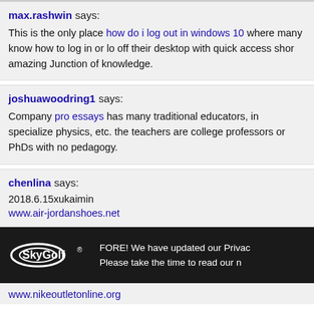max.rashwin says: This is the only place how do i log out in windows 10 where many know how to log in or lo off their desktop with quick access shor amazing Junction of knowledge.
joshuawoodring1 says: Company pro essays has many traditional educators, in specialize physics, etc. the teachers are college professors or PhDs with no pedagogy.
chenlina says: 2018.6.15xukaimin www.air-jordanshoes.net
FORE! We have updated our Privac Please take the time to read our n
www.nikeoutletonline.org